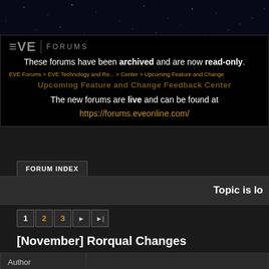[Figure (screenshot): EVE Online starfield header banner background]
These forums have been archived and are now read-only. The new forums are live and can be found at https://forums.eveonline.com/
EVE Forums > EVE Technology and Resources > Center > Upcoming Feature and Change
Upcoming Feature and Change Feedback Center
FORUM INDEX
Topic is lo
1 2 3
[November] Rorqual Changes
| Author |  |
| --- | --- |
|  | #1 - 2016-10-04 13:39:11 UTC | Edited by
Hey folks! This will be the specific feedb
You can check out the dev blog here fo |
#1 - 2016-10-04 13:39:11 UTC | Edited by
Hey folks! This will be the specific feedb
You can check out the dev blog here fo